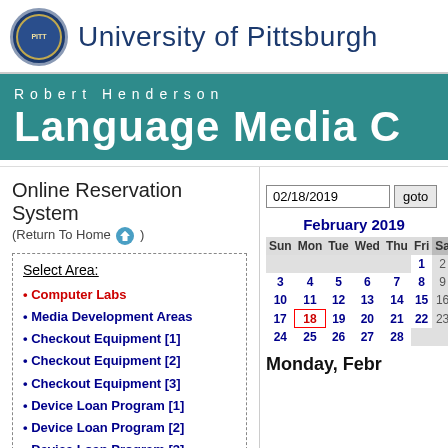University of Pittsburgh
Robert Henderson Language Media C
Online Reservation System (Return To Home)
02/18/2019  goto
Select Area:
Computer Labs
Media Development Areas
Checkout Equipment [1]
Checkout Equipment [2]
Checkout Equipment [3]
Device Loan Program [1]
Device Loan Program [2]
Device Loan Program [3]
| Sun | Mon | Tue | Wed | Thu | Fri | Sa |
| --- | --- | --- | --- | --- | --- | --- |
|  |  |  |  |  | 1 | 2 |
| 3 | 4 | 5 | 6 | 7 | 8 | 9 |
| 10 | 11 | 12 | 13 | 14 | 15 | 16 |
| 17 | 18 | 19 | 20 | 21 | 22 | 23 |
| 24 | 25 | 26 | 27 | 28 |  |  |
Monday, Febr